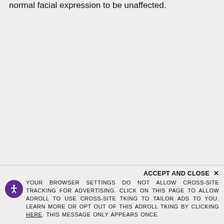normal facial expression to be unaffected.
ACCEPT AND CLOSE ×
YOUR BROWSER SETTINGS DO NOT ALLOW CROSS-SITE TRACKING FOR ADVERTISING. CLICK ON THIS PAGE TO ALLOW ADROLL TO USE CROSS-SITE TRACKING TO TAILOR ADS TO YOU. LEARN MORE OR OPT OUT OF THIS ADROLL TRACKING BY CLICKING HERE. THIS MESSAGE ONLY APPEARS ONCE.